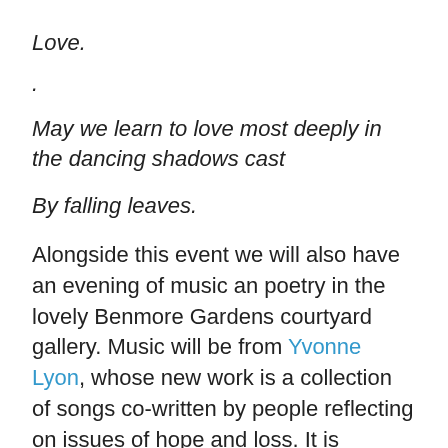Love.
.
May we learn to love most deeply in the dancing shadows cast
By falling leaves.
Alongside this event we will also have an evening of music an poetry in the lovely Benmore Gardens courtyard gallery. Music will be from Yvonne Lyon, whose new work is a collection of songs co-written by people reflecting on issues of hope and loss. It is sublime.
The poetry will be taken primarily from the section entitled ‘Losing’ from the Learning to Love book, and I hope to have some of the poets who contributed as part of the